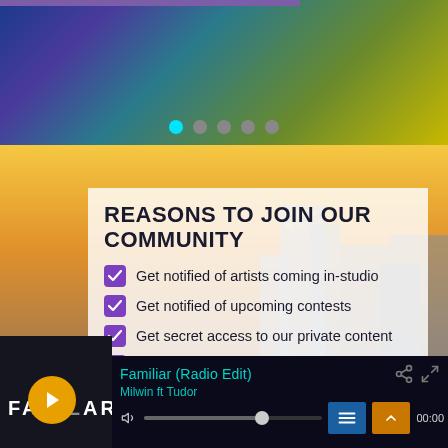[Figure (screenshot): Top gradient banner with blue-purple-green-yellow gradient and purple bar at top left, with five navigation dots (first dot is cyan/active, rest are gray)]
[Figure (photo): City skyline background photo with warm yellow/golden sky and dark buildings]
REASONS TO JOIN OUR COMMUNITY
Get notified of artists coming in-studio
Get notified of upcoming contests
Get secret access to our private content
Get special offers/discounts on our merch
[Figure (screenshot): Music player bar at bottom showing 'Familiar (Radio Edit)' by Milwin ft Tudor, with album art showing 'FAMILIAR' text, play button, progress bar, volume icon, queue and expand buttons, and 00:00 timestamp]